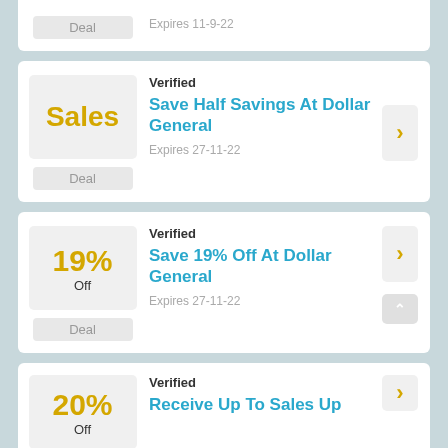Deal  Expires 11-9-22
Verified
Save Half Savings At Dollar General
Expires 27-11-22
Verified
Save 19% Off At Dollar General
Expires 27-11-22
Verified
Receive Up To Sales Up